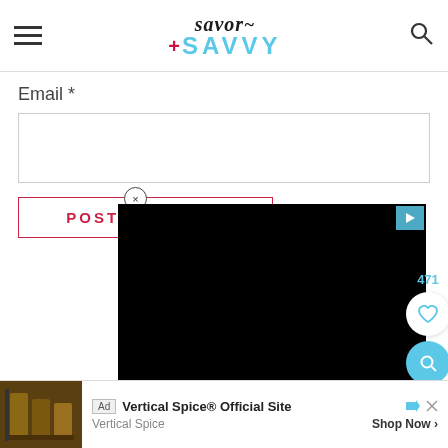Savor + SAVVY
Email *
POST COMMENT
This site uses Akismet to reduce spam.
Learn how your comment data is
processed
[Figure (screenshot): Black video player overlay with play button in top right corner]
Ad   Vertical Spice® Official Site   Vertical Spice   Shop Now >